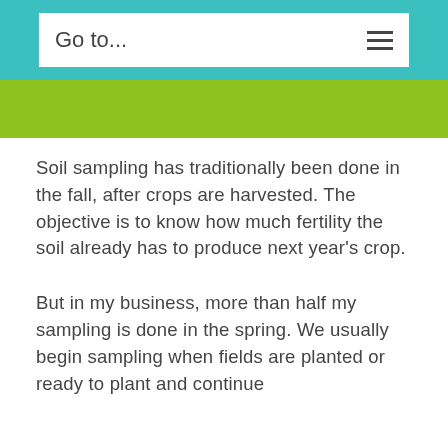Go to...
Soil sampling has traditionally been done in the fall, after crops are harvested. The objective is to know how much fertility the soil already has to produce next year's crop.
But in my business, more than half my sampling is done in the spring. We usually begin sampling when fields are planted or ready to plant and continue